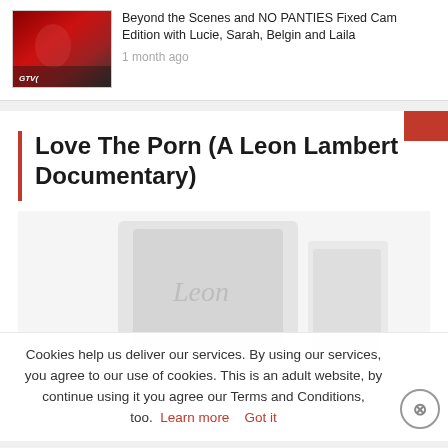[Figure (photo): Thumbnail image of video content in red tones with a small logo overlay]
Beyond the Scenes and NO PANTIES Fixed Cam Edition with Lucie, Sarah, Belgin and Laila
1 month ago
Love The Porn (A Leon Lambert Documentary)
[Figure (photo): Faded grey-toned book or DVD cover with cursive Leon text]
Cookies help us deliver our services. By using our services, you agree to our use of cookies. This is an adult website, by continue using it you agree our Terms and Conditions, too.  Learn more   Got it